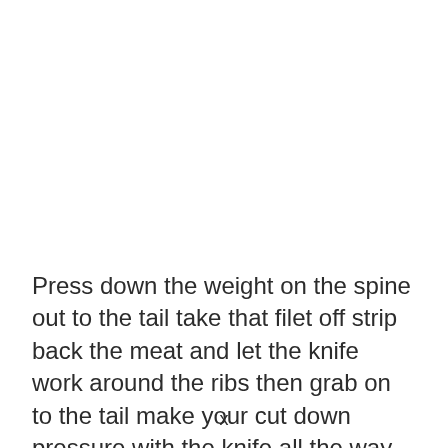Press down the weight on the spine out to the tail take that filet off strip back the meat and let the knife work around the ribs then grab on to the tail make your cut down pressure with the knife all the way out to the end the tip out...
x